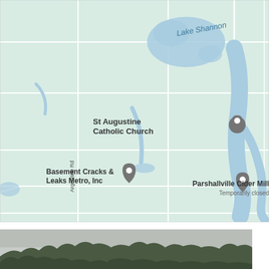[Figure (map): Google Maps screenshot showing a rural area in Michigan. Features include Lake Shannon (a blue lake in the upper portion), St Augustine Catholic Church with a map pin (left-center area), Argentine Rd (vertical road label on left side), Basement Cracks & Leaks Metro, Inc with a map pin (lower left), and Parshallville Cider Mill (Temporarily closed) with a map pin (right side). The map background is mint/sage green with white road lines and blue water bodies.]
[Figure (photo): Partial landscape/outdoor photograph showing trees and vegetation against an overcast sky. Only the top portion is visible at the bottom of the page.]